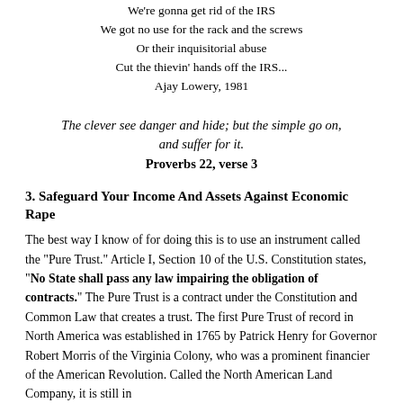Chorus:
We're gonna get rid of the IRS
We got no use for the rack and the screws
Or their inquisitorial abuse
Cut the thievin' hands off the IRS...
Ajay Lowery, 1981
The clever see danger and hide; but the simple go on, and suffer for it.
Proverbs 22, verse 3
3. Safeguard Your Income And Assets Against Economic Rape
The best way I know of for doing this is to use an instrument called the "Pure Trust." Article I, Section 10 of the U.S. Constitution states, "No State shall pass any law impairing the obligation of contracts." The Pure Trust is a contract under the Constitution and Common Law that creates a trust. The first Pure Trust of record in North America was established in 1765 by Patrick Henry for Governor Robert Morris of the Virginia Colony, who was a prominent financier of the American Revolution. Called the North American Land Company, it is still in